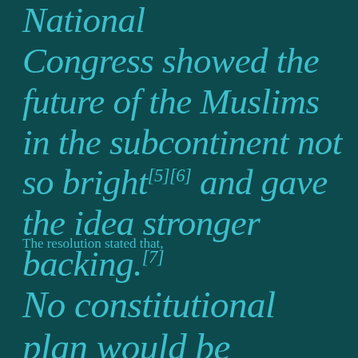National Congress showed the future of the Muslims in the subcontinent not so bright[5][6] and gave the idea stronger backing.[7]
The resolution stated that,
No constitutional plan would be workable or